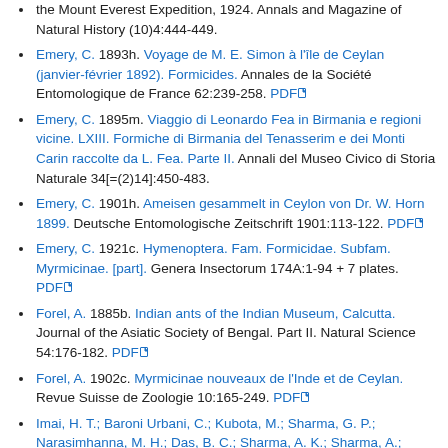the Mount Everest Expedition, 1924. Annals and Magazine of Natural History (10)4:444-449.
Emery, C. 1893h. Voyage de M. E. Simon à l'île de Ceylan (janvier-février 1892). Formicides. Annales de la Société Entomologique de France 62:239-258. PDF
Emery, C. 1895m. Viaggio di Leonardo Fea in Birmania e regioni vicine. LXIII. Formiche di Birmania del Tenasserim e dei Monti Carin raccolte da L. Fea. Parte II. Annali del Museo Civico di Storia Naturale 34[=(2)14]:450-483.
Emery, C. 1901h. Ameisen gesammelt in Ceylon von Dr. W. Horn 1899. Deutsche Entomologische Zeitschrift 1901:113-122. PDF
Emery, C. 1921c. Hymenoptera. Fam. Formicidae. Subfam. Myrmicinae. [part]. Genera Insectorum 174A:1-94 + 7 plates. PDF
Forel, A. 1885b. Indian ants of the Indian Museum, Calcutta. Journal of the Asiatic Society of Bengal. Part II. Natural Science 54:176-182. PDF
Forel, A. 1902c. Myrmicinae nouveaux de l'Inde et de Ceylan. Revue Suisse de Zoologie 10:165-249. PDF
Imai, H. T.; Baroni Urbani, C.; Kubota, M.; Sharma, G. P.; Narasimhanna, M. H.; Das, B. C.; Sharma, A. K.; Sharma, A.; Deodikar, G. B.; Vaidya, V. G.; Rajasekarasetty, M. R. 1984. Karyological survey of Indian ants. Japanese Journal of Genetics 59:1-32. PDF